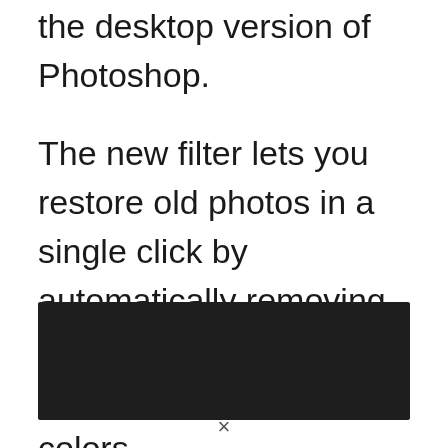the desktop version of Photoshop.
The new filter lets you restore old photos in a single click by automatically removing scratches, reducing noise, and correcting colors.
[Figure (photo): Dark/black rectangular image block, likely a photo placeholder or embedded screenshot]
×